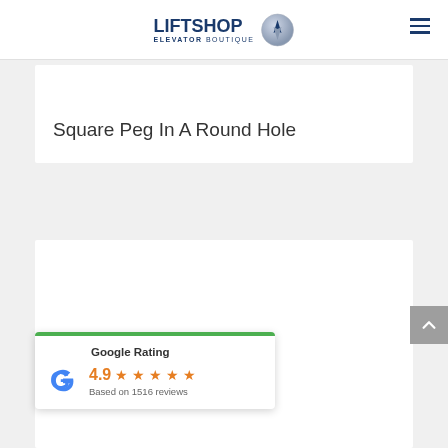LIFTSHOP ELEVATOR BOUTIQUE
Square Peg In A Round Hole
[Figure (infographic): Google Rating widget showing 4.9 stars based on 1516 reviews with Google G logo and green top border]